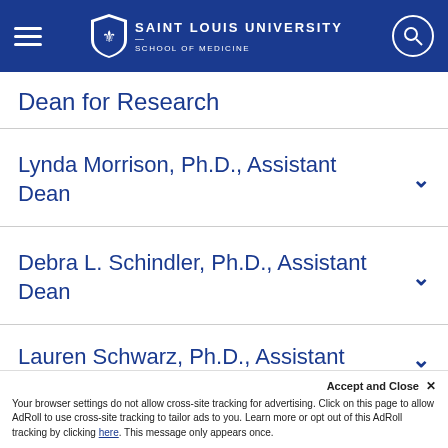SAINT LOUIS UNIVERSITY — SCHOOL OF MEDICINE
Dean for Research
Lynda Morrison, Ph.D., Assistant Dean
Debra L. Schindler, Ph.D., Assistant Dean
Lauren Schwarz, Ph.D., Assistant Dean
Accept and Close × Your browser settings do not allow cross-site tracking for advertising. Click on this page to allow AdRoll to use cross-site tracking to tailor ads to you. Learn more or opt out of this AdRoll tracking by clicking here. This message only appears once.